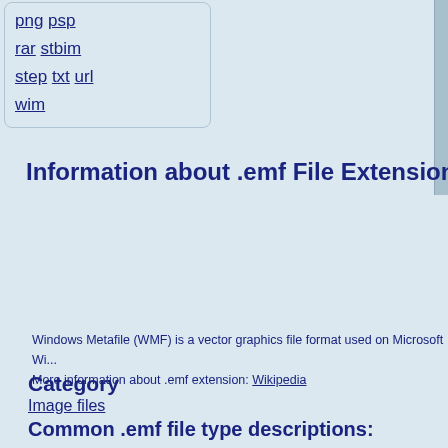png psp
rar stbim
step txt url
wim
Information about .emf File Extension
Windows Metafile (WMF) is a vector graphics file format used on Microsoft Wi... More information about .emf extension: Wikipedia
Category
Image files
Common .emf file type descriptions:
EMF File
IrfanView EMF File
EMF Image
Рисунок EMF
Paintbrush Picture